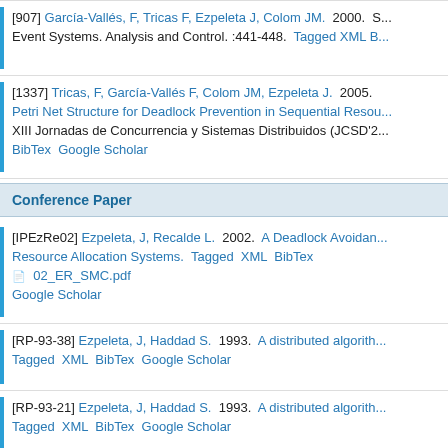[907] García-Vallés, F, Tricas F, Ezpeleta J, Colom JM. 2000. S... Event Systems. Analysis and Control. :441-448. Tagged XML B...
[1337] Tricas, F, García-Vallés F, Colom JM, Ezpeleta J. 2005. Petri Net Structure for Deadlock Prevention in Sequential Resou... XIII Jornadas de Concurrencia y Sistemas Distribuidos (JCSD'2... BibTex Google Scholar
Conference Paper
[IPEzRe02] Ezpeleta, J, Recalde L. 2002. A Deadlock Avoidan... Resource Allocation Systems. Tagged XML BibTex 02_ER_SMC.pdf Google Scholar
[RP-93-38] Ezpeleta, J, Haddad S. 1993. A distributed algorith... Tagged XML BibTex Google Scholar
[RP-93-21] Ezpeleta, J, Haddad S. 1993. A distributed algorith... Tagged XML BibTex Google Scholar
[RP-90-05] Martínez, J, Ezpeleta J. 1990. Flexible manufacturi... BibTex Google Scholar